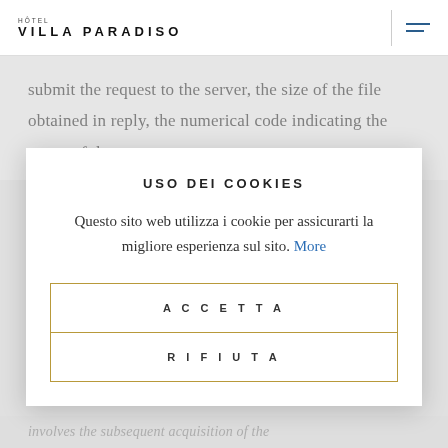HOTEL VILLA PARADISO
submit the request to the server, the size of the file obtained in reply, the numerical code indicating the status of the response
USO DEI COOKIES
Questo sito web utilizza i cookie per assicurarti la migliore esperienza sul sito. More
ACCETTA
RIFIUTA
involves the subsequent acquisition of the